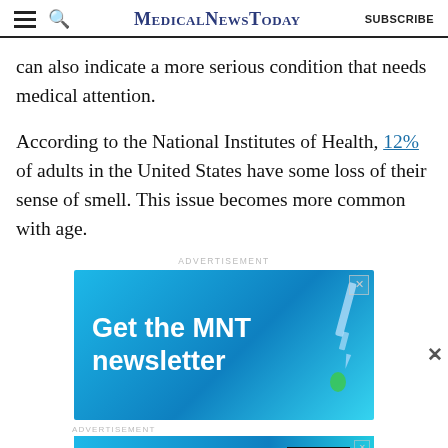MedicalNewsToday | SUBSCRIBE
can also indicate a more serious condition that needs medical attention.
According to the National Institutes of Health, 12% of adults in the United States have some loss of their sense of smell. This issue becomes more common with age.
[Figure (screenshot): Advertisement banner: 'Get the MNT newsletter' on blue background with dropper image]
[Figure (screenshot): Small advertisement banner: 'Get the MNT newsletter' with subscribe button]